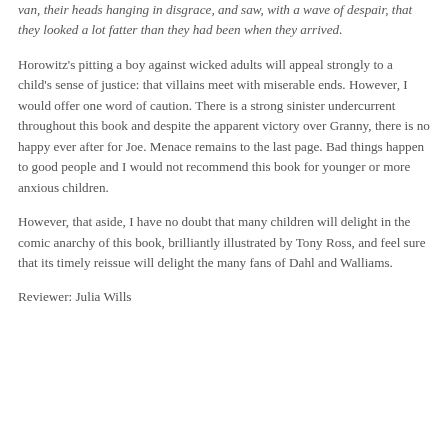van, their heads hanging in disgrace, and saw, with a wave of despair, that they looked a lot fatter than they had been when they arrived.
Horowitz's pitting a boy against wicked adults will appeal strongly to a child's sense of justice: that villains meet with miserable ends. However, I would offer one word of caution. There is a strong sinister undercurrent throughout this book and despite the apparent victory over Granny, there is no happy ever after for Joe. Menace remains to the last page. Bad things happen to good people and I would not recommend this book for younger or more anxious children.
However, that aside, I have no doubt that many children will delight in the comic anarchy of this book, brilliantly illustrated by Tony Ross, and feel sure that its timely reissue will delight the many fans of Dahl and Walliams.
Reviewer: Julia Wills